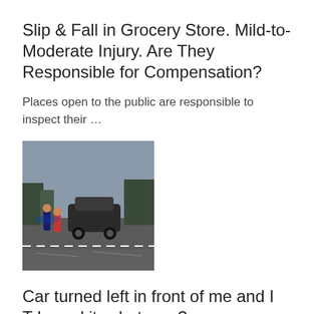Slip & Fall in Grocery Store. Mild-to-Moderate Injury. Are They Responsible for Compensation?
Places open to the public are responsible to inspect their …
[Figure (photo): Photo of a car accident scene on a wet road, with emergency personnel and multiple vehicles involved in a collision.]
Car turned left in front of me and I T-boned it, what now?
In Colorado, drivers turning left have a duty to yield to …
DOWNLOAD APP